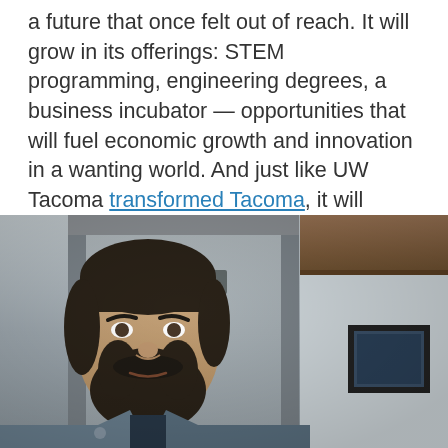a future that once felt out of reach. It will grow in its offerings: STEM programming, engineering degrees, a business incubator — opportunities that will fuel economic growth and innovation in a wanting world. And just like UW Tacoma transformed Tacoma, it will continue to transform the lives of students like Tom Rochat.
[Figure (photo): Portrait photograph of Tom Rochat, a bearded man wearing a blue jacket over a dark polo shirt, standing in what appears to be an interior hallway or lobby with doors and wooden architectural elements visible in the background.]